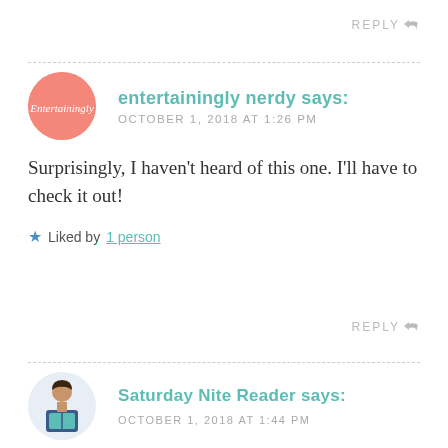REPLY ↩
entertainingly nerdy says:
OCTOBER 1, 2018 AT 1:26 PM
Surprisingly, I haven't heard of this one. I'll have to check it out!
★ Liked by 1person
REPLY ↩
Saturday Nite Reader says:
OCTOBER 1, 2018 AT 1:44 PM